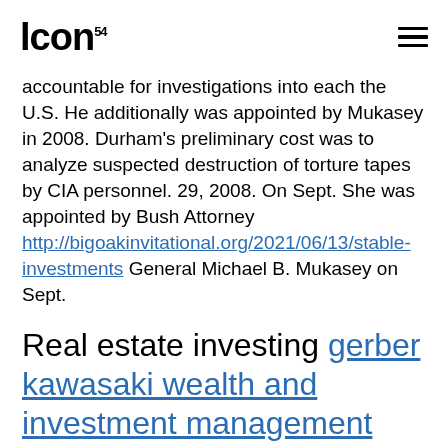ICON⁵⁴
accountable for investigations into each the U.S. He additionally was appointed by Mukasey in 2008. Durham's preliminary cost was to analyze suspected destruction of torture tapes by CIA personnel. 29, 2008. On Sept. She was appointed by Bush Attorney http://bigoakinvitational.org/2021/06/13/stable-investments General Michael B. Mukasey on Sept.
Real estate investing gerber kawasaki wealth and investment management blog